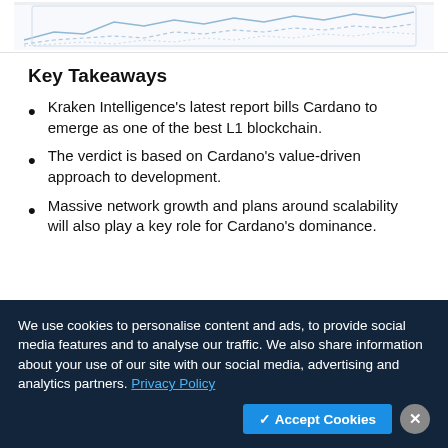[Figure (screenshot): Partial screenshot of a chart or graph at the top of the page, showing light blue/grey lines on a white background, partially cropped.]
Key Takeaways
Kraken Intelligence's latest report bills Cardano to emerge as one of the best L1 blockchain.
The verdict is based on Cardano's value-driven approach to development.
Massive network growth and plans around scalability will also play a key role for Cardano's dominance.
We use cookies to personalise content and ads, to provide social media features and to analyse our traffic. We also share information about your use of our site with our social media, advertising and analytics partners. Privacy Policy